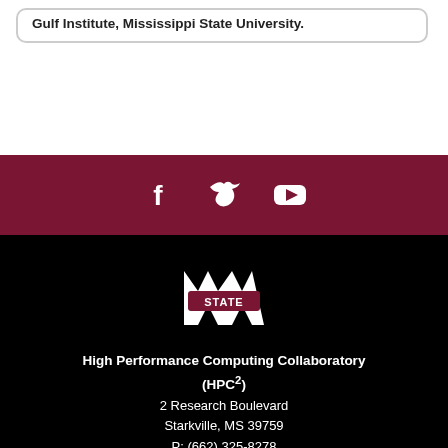Gulf Institute, Mississippi State University.
[Figure (infographic): Social media icons bar: Facebook, Twitter, YouTube icons on a dark maroon background]
[Figure (logo): Mississippi State University M-STATE block letter logo in white]
High Performance Computing Collaboratory (HPC²)
2 Research Boulevard
Starkville, MS 39759
P: (662) 325-8278